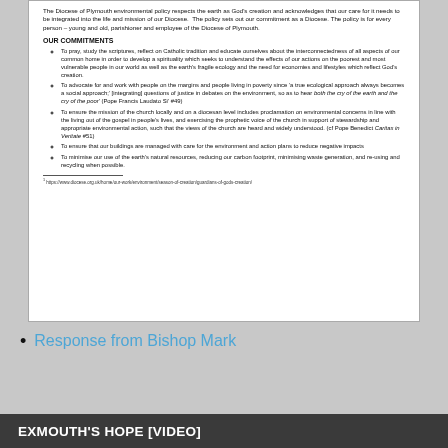The Diocese of Plymouth environmental policy respects the earth as God's creation and acknowledges that our care for it needs to be integrated into the life and mission of our Diocese. The policy sets out our commitment as a Diocese. The policy is for every person – young and old, parishioner and employee of the Diocese of Plymouth.
OUR COMMITMENTS
To pray, study the scriptures, reflect on Catholic tradition and educate ourselves about the interconnectedness of all aspects of our common home in order to develop a spirituality which seeks to understand the effects of our actions on the poorest and most vulnerable people in our world as well as the earth's fragile ecology and the need for economies and lifestyles which reflect God's creation.
To advocate for and work with people on the margins and people living in poverty since 'a true ecological approach always becomes a social approach;' [integrating] questions of justice in debates on the environment, so as to hear both the cry of the earth and the cry of the poor' (Pope Francis Laudato Si' #49)
To ensure the mission of the church locally and on a diocesan level includes proclamation on environmental concerns in line with the living out of the gospel in people's lives, and exercising the prophetic voice of the church in support of stewardship and appropriate environmental action, such that the views of the church are heard and widely understood. (cf Pope Benedict Caritas in Veritate #51)
To ensure that our buildings are managed with care for the environment and action plans to reduce negative impacts
To minimise our use of the earth's natural resources, reducing our carbon footprint, minimising waste generation, and re-using and recycling when possible.
1 https://www.diocese.org.uk/home/our-work/environment/season-of-creation/guardians-of-gods-creation/
Response from Bishop Mark
EXMOUTH'S HOPE [VIDEO]